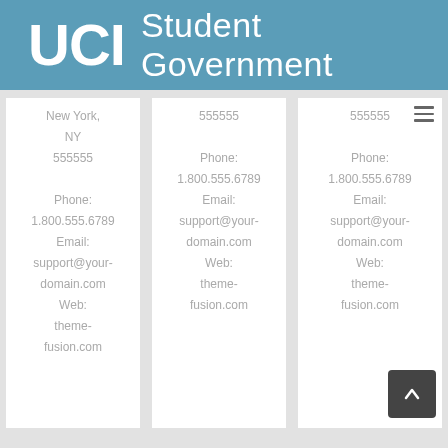UCI Student Government
New York, NY
555555

Phone:
1.800.555.6789
Email:
support@your-domain.com
Web:
theme-fusion.com
555555

Phone:
1.800.555.6789
Email:
support@your-domain.com
Web:
theme-fusion.com
555555

Phone:
1.800.555.6789
Email:
support@your-domain.com
Web:
theme-fusion.com